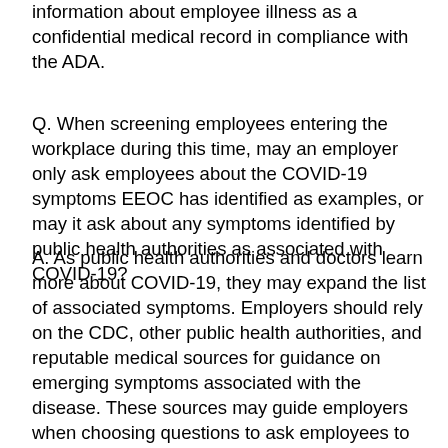information about employee illness as a confidential medical record in compliance with the ADA.
Q. When screening employees entering the workplace during this time, may an employer only ask employees about the COVID-19 symptoms EEOC has identified as examples, or may it ask about any symptoms identified by public health authorities as associated with COVID-19?
A. As public health authorities and doctors learn more about COVID-19, they may expand the list of associated symptoms. Employers should rely on the CDC, other public health authorities, and reputable medical sources for guidance on emerging symptoms associated with the disease. These sources may guide employers when choosing questions to ask employees to determine whether they would pose a direct threat to health in the workplace. To ensure additional